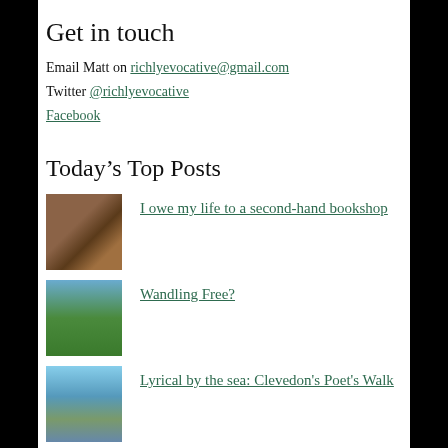Get in touch
Email Matt on richlyevocative@gmail.com
Twitter @richlyevocative
Facebook
Today's Top Posts
I owe my life to a second-hand bookshop
Wandling Free?
Lyrical by the sea: Clevedon's Poet's Walk
Here's Where The Story Begins: The Sundays' Reading, Writing and Arithmetic at 25.